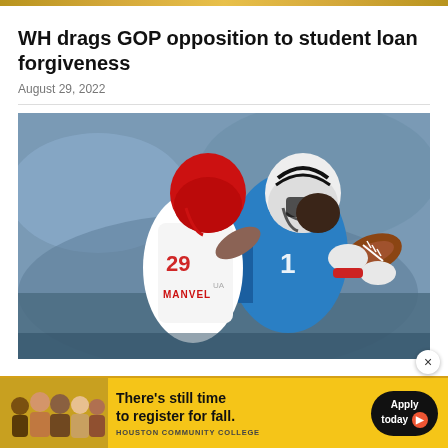WH drags GOP opposition to student loan forgiveness
August 29, 2022
[Figure (photo): Football player in blue jersey and white helmet catching a ball while being defended by a player in a white Manvel jersey with number 29 in a red helmet, night game action shot]
[Figure (other): Houston Community College advertisement banner: group of students photo on left, text 'There's still time to register for fall.' with 'Apply today' button on right against yellow background]